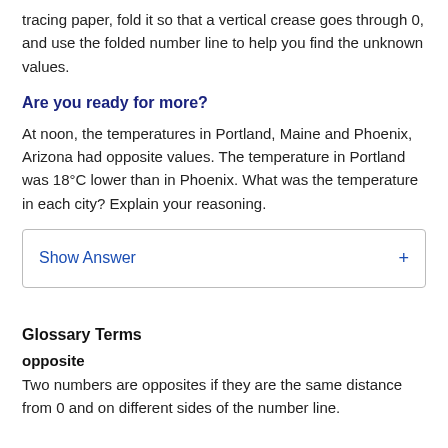tracing paper, fold it so that a vertical crease goes through 0, and use the folded number line to help you find the unknown values.
Are you ready for more?
At noon, the temperatures in Portland, Maine and Phoenix, Arizona had opposite values. The temperature in Portland was 18°C lower than in Phoenix. What was the temperature in each city? Explain your reasoning.
Show Answer +
Glossary Terms
opposite
Two numbers are opposites if they are the same distance from 0 and on different sides of the number line.